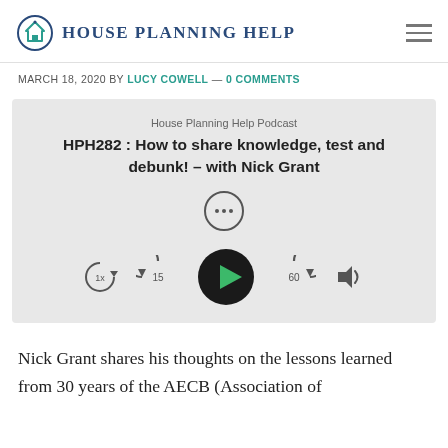House Planning Help
MARCH 18, 2020 BY LUCY COWELL — 0 COMMENTS
[Figure (screenshot): Podcast player widget for House Planning Help Podcast episode HPH282: How to share knowledge, test and debunk! – with Nick Grant. Shows podcast title, ellipsis button, play button, skip back 15s, skip forward 60s, and volume controls.]
Nick Grant shares his thoughts on the lessons learned from 30 years of the AECB (Association of